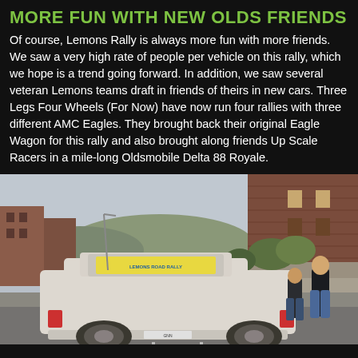MORE FUN WITH NEW OLDS FRIENDS
Of course, Lemons Rally is always more fun with more friends. We saw a very high rate of people per vehicle on this rally, which we hope is a trend going forward. In addition, we saw several veteran Lemons teams draft in friends of theirs in new cars. Three Legs Four Wheels (For Now) have now run four rallies with three different AMC Eagles. They brought back their original Eagle Wagon for this rally and also brought along friends Up Scale Racers in a mile-long Oldsmobile Delta 88 Royale.
[Figure (photo): A long white Oldsmobile Delta 88 Royale hearse or wagon parked on a street, rear view, with a yellow Rally sign/decal on the rear window. People standing nearby. Brick building and cars in background. Urban street scene, overcast day.]